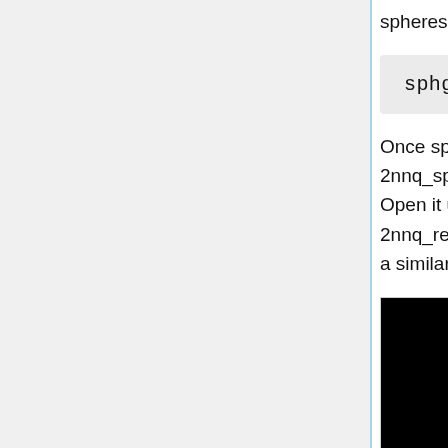spheres.
Once sphgen command is successful, 2nnq_spheres.sph file will be created. Open it up using Chimera along with 2nnq_rec_noH.mol2 file. You should get a similar output like the image below.
[Figure (photo): 3D molecular visualization showing colored spheres (yellow-green, purple/blue, pink, white, green, orange) representing atoms or docking spheres against a black background, viewed in Chimera molecular visualization software.]